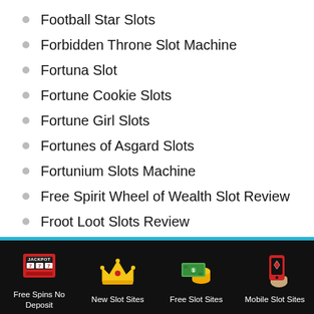Football Star Slots
Forbidden Throne Slot Machine
Fortuna Slot
Fortune Cookie Slots
Fortune Girl Slots
Fortunes of Asgard Slots
Fortunium Slots Machine
Free Spirit Wheel of Wealth Slot Review
Froot Loot Slots Review
Frost Bite Slots Review
Fruit Bingo Slots
Free Spins No Deposit | New Slot Sites | Free Slot Sites | Mobile Slot Sites